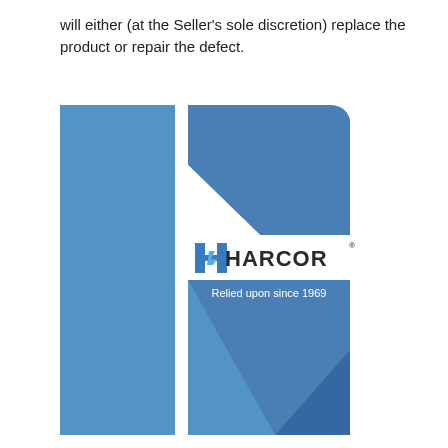will either (at the Seller's sole discretion) replace the product or repair the defect.
[Figure (logo): Harcor logo: abstract folded blue shape (resembling a bookmark or shield) with the text 'HARCOR' and tagline 'Relied upon since 1969']